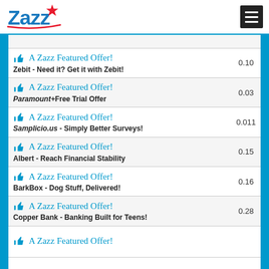Zazz
| Offer | Value |
| --- | --- |
| A Zazz Featured Offer! Zebit - Need it? Get it with Zebit! | 0.10 |
| A Zazz Featured Offer! Paramount+ Free Trial Offer | 0.03 |
| A Zazz Featured Offer! Samplicio.us - Simply Better Surveys! | 0.011 |
| A Zazz Featured Offer! Albert - Reach Financial Stability | 0.15 |
| A Zazz Featured Offer! BarkBox - Dog Stuff, Delivered! | 0.16 |
| A Zazz Featured Offer! Copper Bank - Banking Built for Teens! | 0.28 |
| A Zazz Featured Offer! (partial) |  |